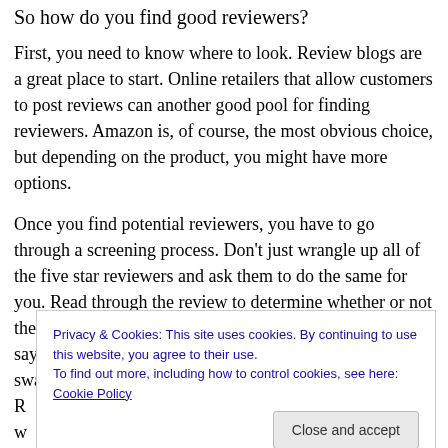So how do you find good reviewers?
First, you need to know where to look. Review blogs are a great place to start. Online retailers that allow customers to post reviews can another good pool for finding reviewers. Amazon is, of course, the most obvious choice, but depending on the product, you might have more options.
Once you find potential reviewers, you have to go through a screening process. Don't just wrangle up all of the five star reviewers and ask them to do the same for you. Read through the review to determine whether or not the person writes well, but also has something useful to say about a product. Basically, a good review should sway your purchasing d
R
w
g
w
market.
Privacy & Cookies: This site uses cookies. By continuing to use this website, you agree to their use.
To find out more, including how to control cookies, see here: Cookie Policy
Close and accept